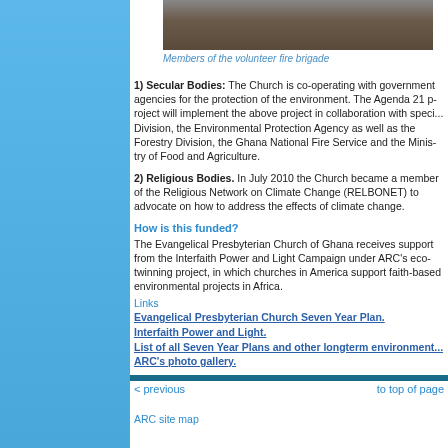[Figure (photo): Members of the volunteer fire brigade - group of people standing outdoors]
Members of the volunteer fire brigade
1) Secular Bodies: The Church is co-operating with government agencies for the protection of the environment. The Agenda 21 project will implement the above project in collaboration with specific government agencies: the Lands Division, the Environmental Protection Agency as well as the Forestry Division, the Ghana National Fire Service and the Ministry of Food and Agriculture.
2) Religious Bodies. In July 2010 the Church became a member of the Religious Network on Climate Change (RELBONET) to advocate on how to address the effects of climate change.
How is this funded?
The Evangelical Presbyterian Church of Ghana receives support from the Interfaith Power and Light Campaign under ARC's eco-twinning project, in which churches in America support faith-based environmental projects in Africa.
Links
Evangelical Presbyterian Church Seven Year Plan.
Interfaith Power and Light.
List of all Seven Year Plans and other longterm environmental plans.
ARC's photo gallery.
< previous    to top of page
ARC site map